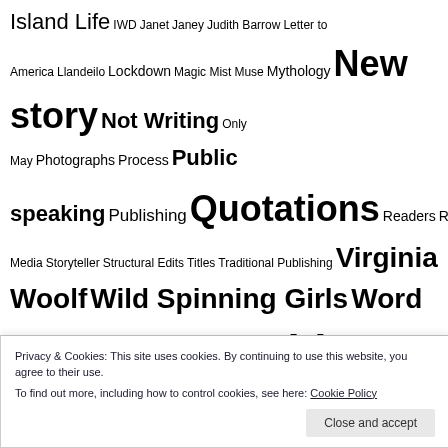Island Life IWD Janet Janey Judith Barrow Letter to America Llandeilo Lockdown Magic Mist Muse Mythology New story Not Writing Only May Photographs Process Public speaking Publishing Quotations Readers Reading Review Reviews RiverBook SisterBook Sky Snow Sisters Social Media Storyteller Structural Edits Titles Traditional Publishing Virginia Woolf Wild Spinning Girls Word Birds Workshops Writers Writing Writing Advice Writing Group Writing rituals
ARCHIVES
April 2022
March 2022
Privacy & Cookies: This site uses cookies. By continuing to use this website, you agree to their use. To find out more, including how to control cookies, see here: Cookie Policy
Close and accept